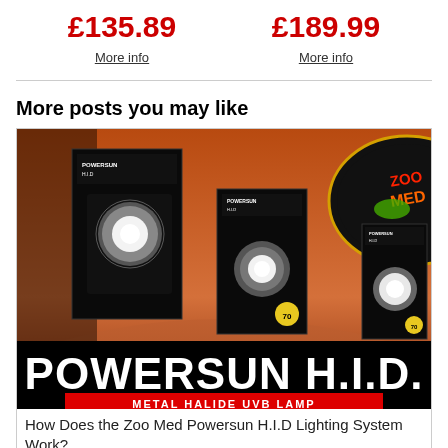£135.89
More info
£189.99
More info
More posts you may like
[Figure (photo): Zoo Med Powersun H.I.D. Metal Halide UVB Lamp product advertisement image showing product boxes and bulbs against a desert backdrop with the text POWERSUN H.I.D. in large white letters and METAL HALIDE UVB LAMP on a red banner.]
How Does the Zoo Med Powersun H.I.D Lighting System Work?